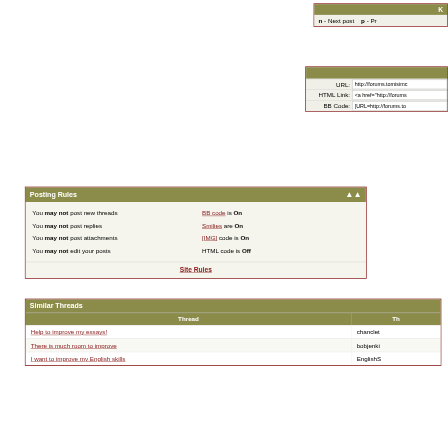| K |
| --- |
| n - Next post  p - Pr |
|  |
| --- |
| URL: | http://forums.tomisimc |
| HTML Link: | <a href="http://forums |
| BB Code: | [URL=http://forums.to |
Posting Rules
You may not post new threads
You may not post replies
You may not post attachments
You may not edit your posts
BB code is On
Smilies are On
[IMG] code is On
HTML code is Off
Site Rules
Similar Threads
| Thread | Th |
| --- | --- |
| Help to improve my essays! | chanclet |
| There is much room to improve | bobjenki |
| I want to improve my English skills | EnglishS |